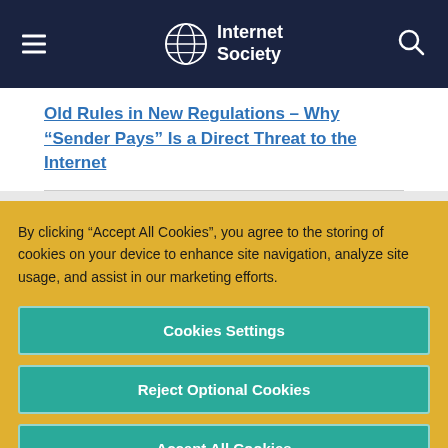Internet Society
Old Rules in New Regulations – Why “Sender Pays” Is a Direct Threat to the Internet
By clicking “Accept All Cookies”, you agree to the storing of cookies on your device to enhance site navigation, analyze site usage, and assist in our marketing efforts.
Cookies Settings
Reject Optional Cookies
Accept All Cookies